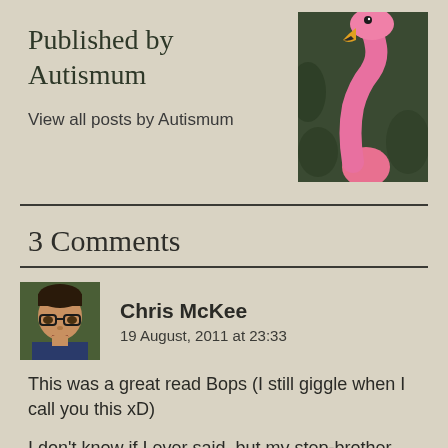Published by Autismum
[Figure (photo): Close-up photo of a pink flamingo head and neck against a dark green background]
View all posts by Autismum
3 Comments
[Figure (photo): Avatar photo of Chris McKee, a young man with glasses outdoors]
Chris McKee
19 August, 2011 at 23:33
This was a great read Bops (I still giggle when I call you this xD)
I don't know if I ever said, but my step-brother also